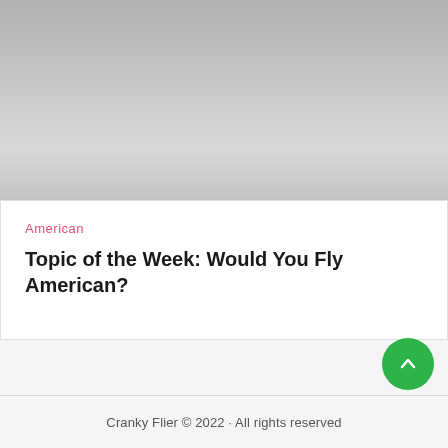[Figure (photo): Gray gradient image area representing a photo placeholder at the top of the page]
American
Topic of the Week: Would You Fly American?
Cranky Flier © 2022 · All rights reserved